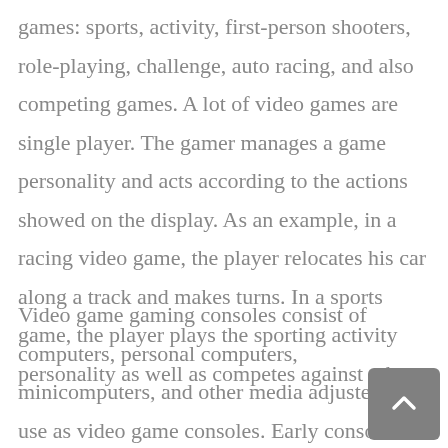games: sports, activity, first-person shooters, role-playing, challenge, auto racing, and also competing games. A lot of video games are single player. The gamer manages a game personality and acts according to the actions showed on the display. As an example, in a racing video game, the player relocates his car along a track and makes turns. In a sports game, the player plays the sporting activity personality as well as competes against others.
Video game gaming consoles consist of computers, personal computers, minicomputers, and other media adjusted for use as video game consoles. Early console versions used analog